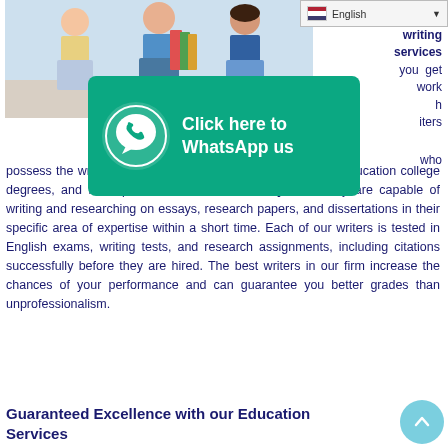[Figure (photo): Students holding books and folders, standing together in a school/college setting]
[Figure (infographic): WhatsApp click-here button overlay with green background]
Education...
writing services you get work h iters who possess the writing professional and experience, who have education college degrees, and have proven to education essays that they are capable of writing and researching on essays, research papers, and dissertations in their specific area of expertise within a short time. Each of our writers is tested in English exams, writing tests, and research assignments, including citations successfully before they are hired. The best writers in our firm increase the chances of your performance and can guarantee you better grades than unprofessionalism.
Guaranteed Excellence with our Education Services